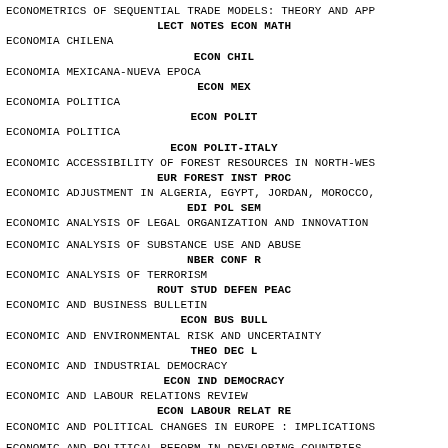ECONOMETRICS OF SEQUENTIAL TRADE MODELS: THEORY AND APP
    LECT NOTES ECON MATH
ECONOMIA CHILENA
    ECON CHIL
ECONOMIA MEXICANA-NUEVA EPOCA
    ECON MEX
ECONOMIA POLITICA
    ECON POLIT
ECONOMIA POLITICA
    ECON POLIT-ITALY
ECONOMIC ACCESSIBILITY OF FOREST RESOURCES IN NORTH-WES
    EUR FOREST INST PROC
ECONOMIC ADJUSTMENT IN ALGERIA, EGYPT, JORDAN, MOROCCO,
    EDI POL SEM
ECONOMIC ANALYSIS OF LEGAL ORGANIZATION AND INNOVATION
ECONOMIC ANALYSIS OF SUBSTANCE USE AND ABUSE
    NBER CONF R
ECONOMIC ANALYSIS OF TERRORISM
    ROUT STUD DEFEN PEAC
ECONOMIC AND BUSINESS BULLETIN
    ECON BUS BULL
ECONOMIC AND ENVIRONMENTAL RISK AND UNCERTAINTY
    THEO DEC L
ECONOMIC AND INDUSTRIAL DEMOCRACY
    ECON IND DEMOCRACY
ECONOMIC AND LABOUR RELATIONS REVIEW
    ECON LABOUR RELAT RE
ECONOMIC AND POLITICAL CHANGES IN EUROPE : IMPLICATIONS
ECONOMIC AND POLITICAL REFORM IN DEVELOPING COUNTRIES